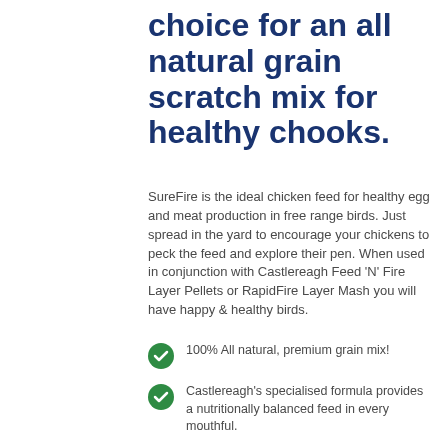choice for an all natural grain scratch mix for healthy chooks.
SureFire is the ideal chicken feed for healthy egg and meat production in free range birds. Just spread in the yard to encourage your chickens to peck the feed and explore their pen. When used in conjunction with Castlereagh Feed 'N' Fire Layer Pellets or RapidFire Layer Mash you will have happy & healthy birds.
100% All natural, premium grain mix!
Castlereagh's specialised formula provides a nutritionally balanced feed in every mouthful.